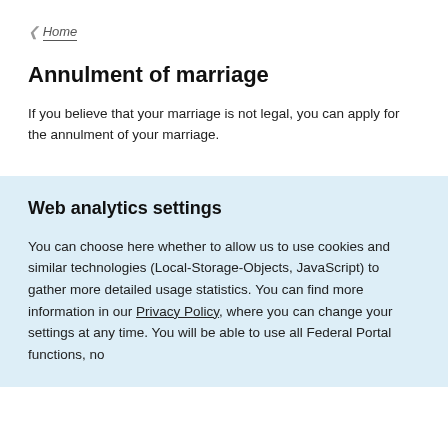< Home
Annulment of marriage
If you believe that your marriage is not legal, you can apply for the annulment of your marriage.
Web analytics settings
You can choose here whether to allow us to use cookies and similar technologies (Local-Storage-Objects, JavaScript) to gather more detailed usage statistics. You can find more information in our Privacy Policy, where you can change your settings at any time. You will be able to use all Federal Portal functions, no matter which settings you choose.